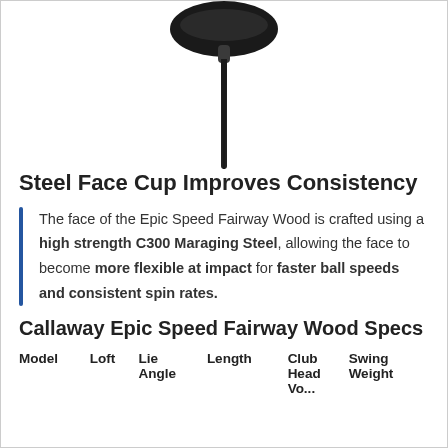[Figure (photo): A Callaway Epic Speed Fairway Wood golf club, showing the head and part of the shaft against a white background, viewed from slightly above.]
Steel Face Cup Improves Consistency
The face of the Epic Speed Fairway Wood is crafted using a high strength C300 Maraging Steel, allowing the face to become more flexible at impact for faster ball speeds and consistent spin rates.
Callaway Epic Speed Fairway Wood Specs
| Model | Loft | Lie Angle | Length | Club Head | Swing Weight |
| --- | --- | --- | --- | --- | --- |